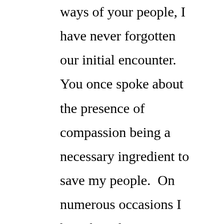ways of your people, I have never forgotten our initial encounter. You once spoke about the presence of compassion being a necessary ingredient to save my people.  On numerous occasions I have based my actions on compassion. Allowing Holly Marshall to restore you to this valley is one such example.  I will